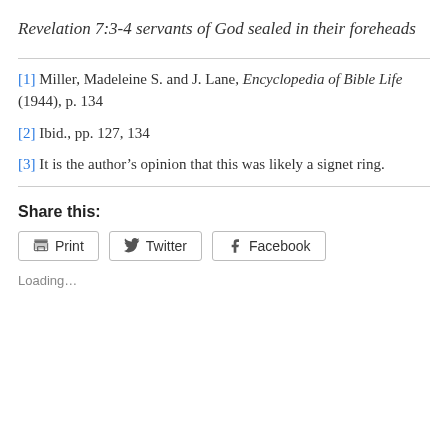Revelation 7:3-4 servants of God sealed in their foreheads
[1] Miller, Madeleine S. and J. Lane, Encyclopedia of Bible Life (1944), p. 134
[2] Ibid., pp. 127, 134
[3] It is the author’s opinion that this was likely a signet ring.
Share this:
Print  Twitter  Facebook
Loading…